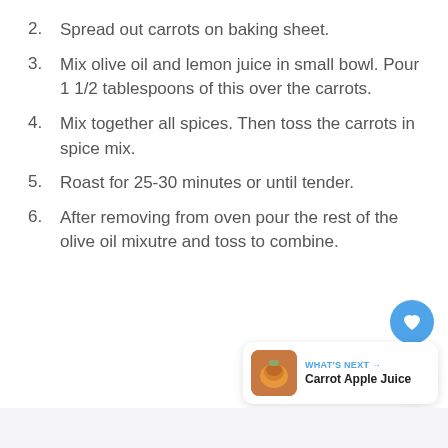2. Spread out carrots on baking sheet.
3. Mix olive oil and lemon juice in small bowl. Pour 1 1/2 tablespoons of this over the carrots.
4. Mix together all spices. Then toss the carrots in spice mix.
5. Roast for 25-30 minutes or until tender.
6. After removing from oven pour the rest of the olive oil mixutre and toss to combine.
[Figure (other): Heart (favourite) floating action button, blue circle with white heart icon]
[Figure (other): Share floating action button, white circle with share icon]
[Figure (other): What's Next card showing Carrot Apple Juice with thumbnail image]